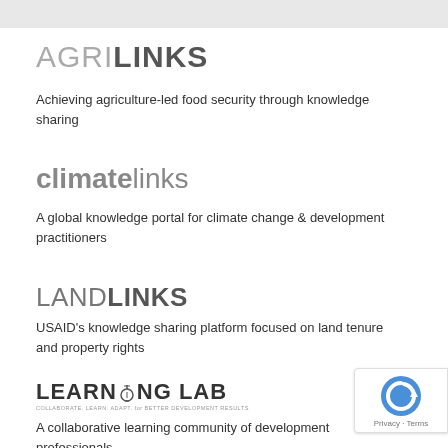[Figure (logo): AGRILINKS logo — AGRI in light gray, LINKS in bold dark gray]
Achieving agriculture-led food security through knowledge sharing
[Figure (logo): climatelinks logo — climate in medium gray bold, links in thin gray]
A global knowledge portal for climate change & development practitioners
[Figure (logo): LANDLINKS logo — LAND in light gray, LINKS in bold gray]
USAID's knowledge sharing platform focused on land tenure and property rights
[Figure (logo): LEARNING LAB logo with lightbulb icon and tagline: COLLABORATE. LEARN. ADAPT. for BETTER DEVELOPMENT RESULTS]
A collaborative learning community of development professionals